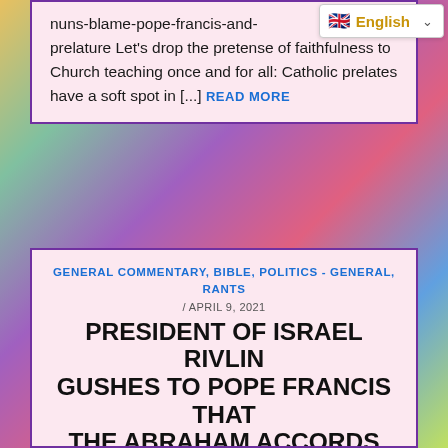nuns-blame-pope-francis-and-prelature Let's drop the pretense of faithfulness to Church teaching once and for all: Catholic prelates have a soft spot in [...] READ MORE
[Figure (screenshot): Language selector widget showing UK flag and 'English' label with dropdown chevron]
GENERAL COMMENTARY, BIBLE, POLITICS - GENERAL, RANTS / APRIL 9, 2021
PRESIDENT OF ISRAEL RIVLIN GUSHES TO POPE FRANCIS THAT THE ABRAHAM ACCORDS ARE BRINGING 'SPECIAL OPPORTUNITY FOR PEACE' TO THE MIDDLE EAST
Ostensibly peace is obviously a good thing, but what is REALLY going on?